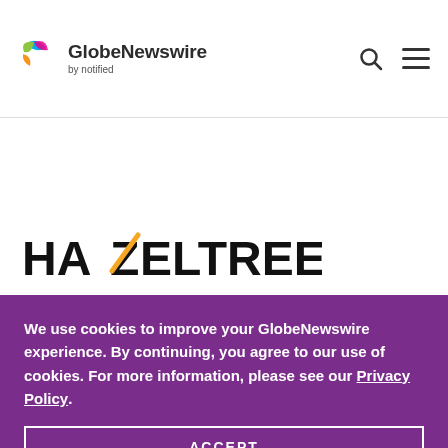GlobeNewswire by notified
[Figure (logo): Hazeltree logo with black bold text and orange diagonal slash on the Z]
We use cookies to improve your GlobeNewswire experience. By continuing, you agree to our use of cookies. For more information, please see our Privacy Policy.
ACCEPT